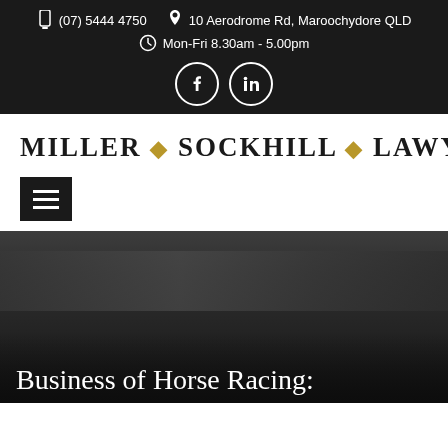(07) 5444 4750   10 Aerodrome Rd, Maroochydore QLD   Mon-Fri 8.30am - 5.00pm
[Figure (logo): Miller Sockhill Lawyers logo with gold diamond separators]
[Figure (other): Hamburger menu icon button]
Business of Horse Racing: